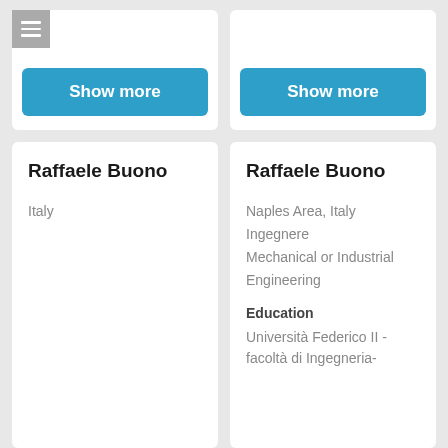[Figure (screenshot): Show more button in blue, left card top]
[Figure (screenshot): Show more button in blue, right card top]
Raffaele Buono
Italy
Raffaele Buono
Naples Area, Italy
Ingegnere
Mechanical or Industrial Engineering
Education
Università Federico II - facoltà di Ingegneria-